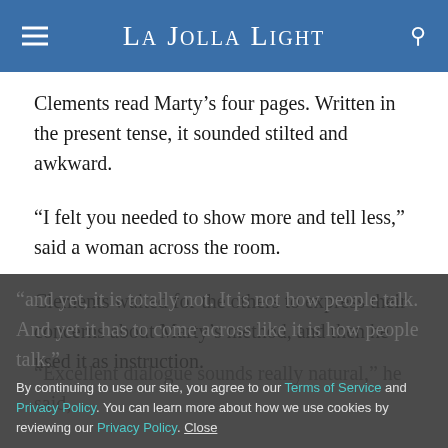La Jolla Light
Clements read Marty’s four pages. Written in the present tense, it sounded stilted and awkward.
“I felt you needed to show more and tell less,” said a woman across the room.
Clements waited for the others to express their concerns about Marty’s method, and then he used it as instruction.
“Excellent dialogue sounds really natural,” he said, “and yet, it is totally not. It is not how people talk. And yet it has to come across like it is how people talk.”
By continuing to use our site, you agree to our Terms of Service and Privacy Policy. You can learn more about how we use cookies by reviewing our Privacy Policy. Close